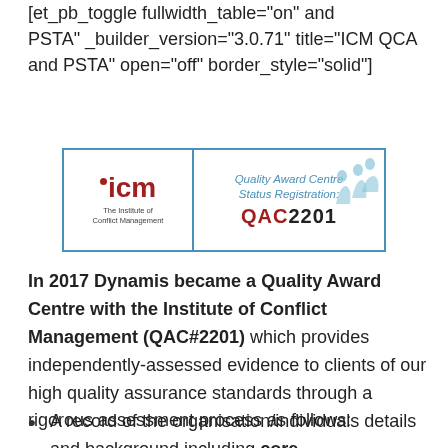[et_pb_toggle fullwidth_table="on" and PSTA" _builder_version="3.0.71" title="ICM QCA and PSTA" open="off" border_style="solid"]
[Figure (logo): ICM (Institute of Conflict Management) Quality Award Centre Status Registration badge showing QAC2201]
In 2017 Dynamis became a Quality Award Centre with the Institute of Conflict Management (QAC#2201) which provides independently-assessed evidence to clients of our high quality assurance standards through a rigorous assessment process as follows:
A record of the organisation/individuals details and background including core